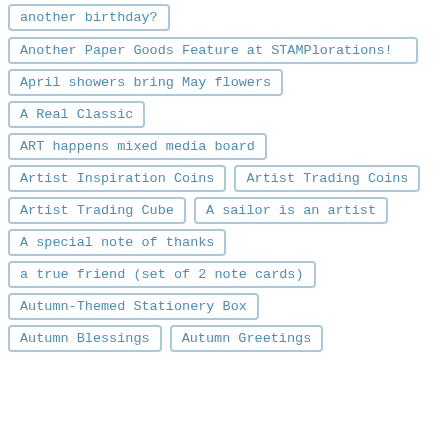another birthday?
Another Paper Goods Feature at STAMPlorations!
April showers bring May flowers
A Real Classic
ART happens mixed media board
Artist Inspiration Coins
Artist Trading Coins
Artist Trading Cube
A sailor is an artist
A special note of thanks
a true friend (set of 2 note cards)
Autumn-Themed Stationery Box
Autumn Blessings
Autumn Greetings